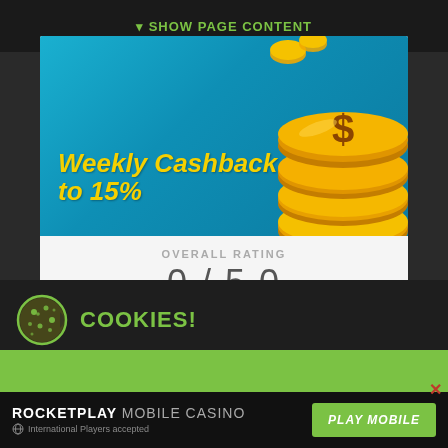SHOW PAGE CONTENT
[Figure (illustration): Casino promotional banner with 'Weekly Cashback up to 15%' text in yellow on blue background with gold coin stack illustration]
OVERALL RATING
0 / 5.0
COOKIES!
This website is using cookies to create the best user experience for you. Once you are using our website, you are giving consent to the usage of those cookies.
ROCKETPLAY MOBILE CASINO — International Players accepted — PLAY MOBILE